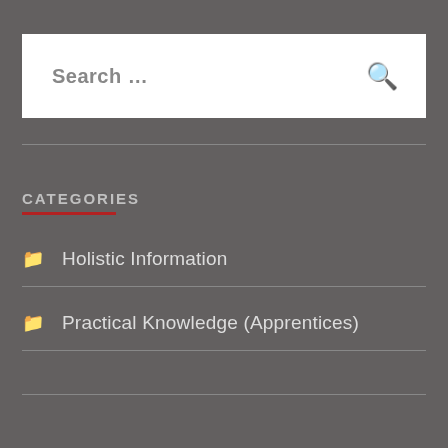Search …
CATEGORIES
Holistic Information
Practical Knowledge (Apprentices)